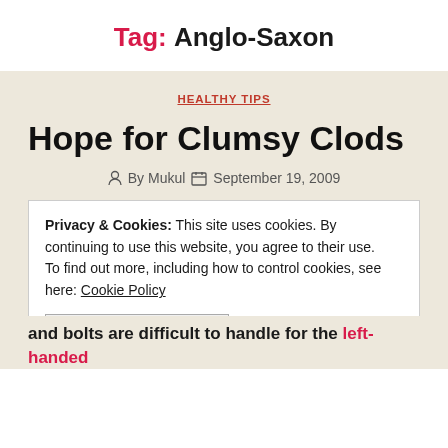Tag: Anglo-Saxon
HEALTHY TIPS
Hope for Clumsy Clods
By Mukul  September 19, 2009
Privacy & Cookies: This site uses cookies. By continuing to use this website, you agree to their use. To find out more, including how to control cookies, see here: Cookie Policy
CLOSE AND ACCEPT
and bolts are difficult to handle for the left-handed